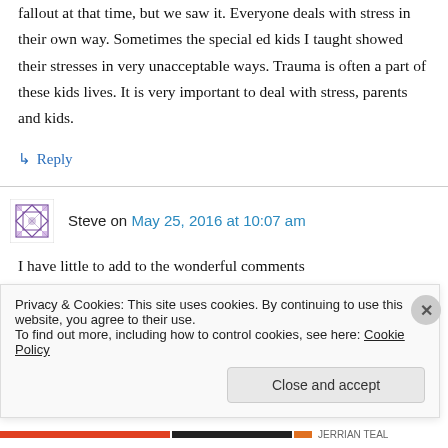fallout at that time, but we saw it. Everyone deals with stress in their own way. Sometimes the special ed kids I taught showed their stresses in very unacceptable ways. Trauma is often a part of these kids lives. It is very important to deal with stress, parents and kids.
↳ Reply
Steve on May 25, 2016 at 10:07 am
I have little to add to the wonderful comments
Privacy & Cookies: This site uses cookies. By continuing to use this website, you agree to their use.
To find out more, including how to control cookies, see here: Cookie Policy
Close and accept